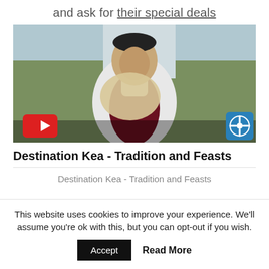and ask for their special deals
[Figure (screenshot): Video thumbnail showing a boy in traditional dress, with a YouTube play button in the bottom-left and a share/settings icon in the bottom-right.]
Destination Kea - Tradition and Feasts
Destination Kea - Tradition and Feasts
This website uses cookies to improve your experience. We'll assume you're ok with this, but you can opt-out if you wish.